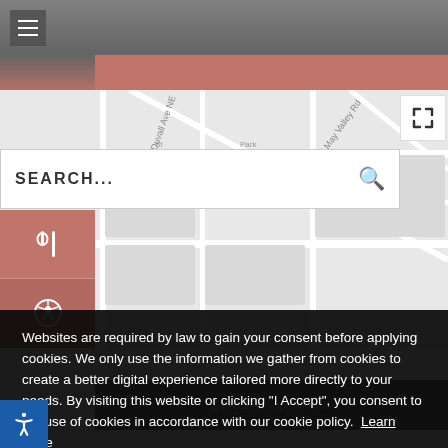[Figure (screenshot): Website screenshot showing a map interface with search bar, navigation icons, and a cookie consent dialog overlay]
SEARCH...
Websites are required by law to gain your consent before applying cookies. We only use the information we gather from cookies to create a better digital experience tailored more directly to your needs. By visiting this website or clicking "I Accept", you consent to the use of cookies in accordance with our cookie policy. Learn more
I accept
Schedule Appointment